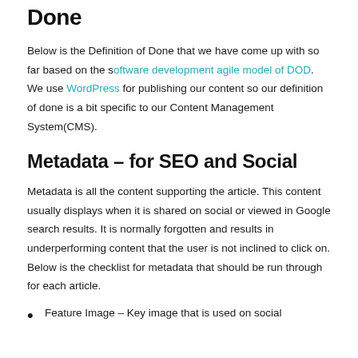Done
Below is the Definition of Done that we have come up with so far based on the software development agile model of DOD. We use WordPress for publishing our content so our definition of done is a bit specific to our Content Management System(CMS).
Metadata – for SEO and Social
Metadata is all the content supporting the article. This content usually displays when it is shared on social or viewed in Google search results. It is normally forgotten and results in underperforming content that the user is not inclined to click on. Below is the checklist for metadata that should be run through for each article.
Feature Image – Key image that is used on social